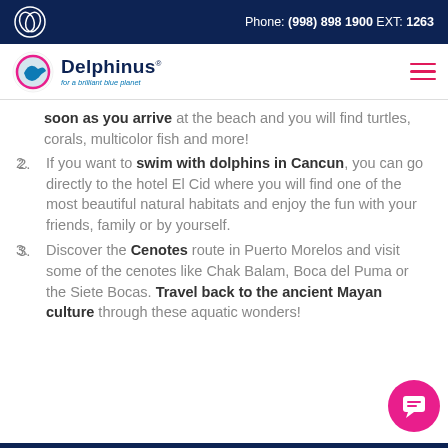Phone: (998) 898 1900 EXT: 1263
[Figure (logo): Delphinus logo with dolphin icon and tagline 'for a brilliant blue planet']
soon as you arrive at the beach and you will find turtles, corals, multicolor fish and more!
If you want to swim with dolphins in Cancun, you can go directly to the hotel El Cid where you will find one of the most beautiful natural habitats and enjoy the fun with your friends, family or by yourself.
Discover the Cenotes route in Puerto Morelos and visit some of the cenotes like Chak Balam, Boca del Puma or the Siete Bocas. Travel back to the ancient Mayan culture through these aquatic wonders!